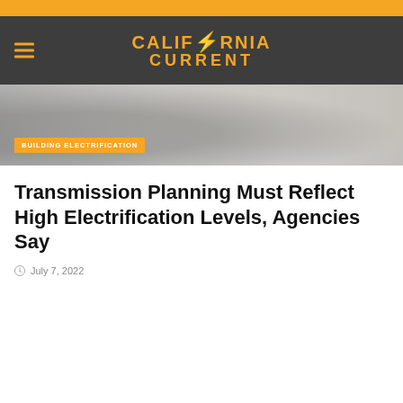California Current
[Figure (photo): Hero image showing a car wheel/tire on gravel road with building electrification category tag overlay]
Transmission Planning Must Reflect High Electrification Levels, Agencies Say
July 7, 2022